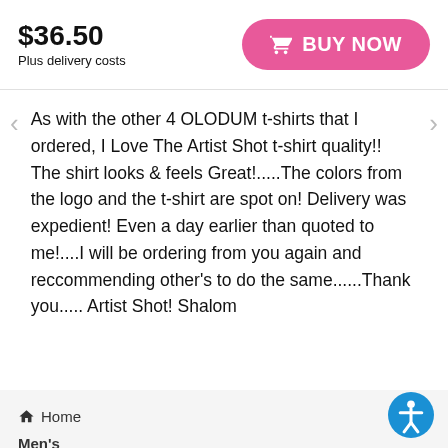$36.50
Plus delivery costs
BUY NOW
As with the other 4 OLODUM t-shirts that I ordered, I Love The Artist Shot t-shirt quality!! The shirt looks & feels Great!.....The colors from the logo and the t-shirt are spot on! Delivery was expedient! Even a day earlier than quoted to me!....I will be ordering from you again and reccommending other's to do the same......Thank you..... Artist Shot! Shalom
Home
Men's
3/4 Sleeve Shirt
Instant Char Filter Operator Helper Just Add Coffee T 3/4 Sleeve Shirt